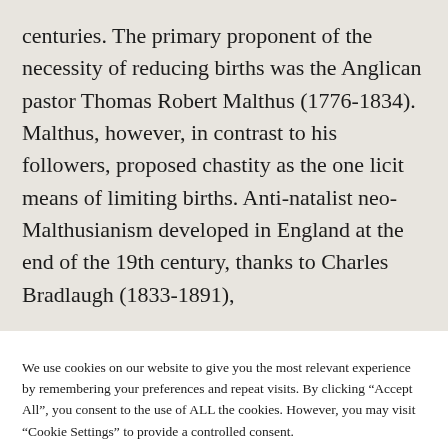centuries. The primary proponent of the necessity of reducing births was the Anglican pastor Thomas Robert Malthus (1776-1834). Malthus, however, in contrast to his followers, proposed chastity as the one licit means of limiting births. Anti-natalist neo-Malthusianism developed in England at the end of the 19th century, thanks to Charles Bradlaugh (1833-1891),
We use cookies on our website to give you the most relevant experience by remembering your preferences and repeat visits. By clicking “Accept All”, you consent to the use of ALL the cookies. However, you may visit "Cookie Settings" to provide a controlled consent.